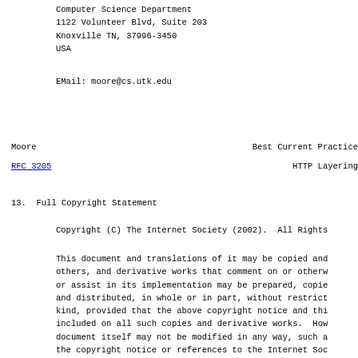Computer Science Department
1122 Volunteer Blvd, Suite 203
Knoxville TN, 37996-3450
USA
EMail: moore@cs.utk.edu
Moore                    Best Current Practice
RFC 3205                 HTTP Layering
13.  Full Copyright Statement
Copyright (C) The Internet Society (2002).  All Rights
This document and translations of it may be copied and
others, and derivative works that comment on or otherw
or assist in its implementation may be prepared, copie
and distributed, in whole or in part, without restrict
kind, provided that the above copyright notice and thi
included on all such copies and derivative works.  How
document itself may not be modified in any way, such a
the copyright notice or references to the Internet Soc
Internet organizations, except as needed for the purpo
developing Internet standards in which case the proced
copyrights defined in the Internet Standards process